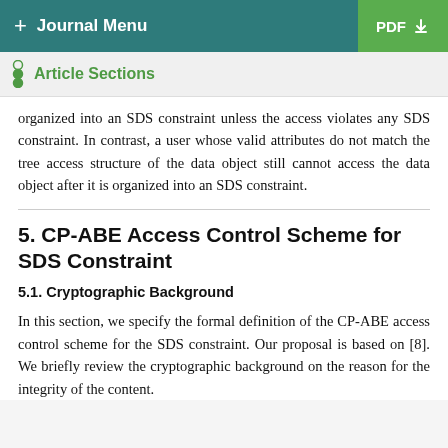+ Journal Menu | PDF ↓
Article Sections
organized into an SDS constraint unless the access violates any SDS constraint. In contrast, a user whose valid attributes do not match the tree access structure of the data object still cannot access the data object after it is organized into an SDS constraint.
5. CP-ABE Access Control Scheme for SDS Constraint
5.1. Cryptographic Background
In this section, we specify the formal definition of the CP-ABE access control scheme for the SDS constraint. Our proposal is based on [8]. We briefly review the cryptographic background on the reason for the integrity of the content.